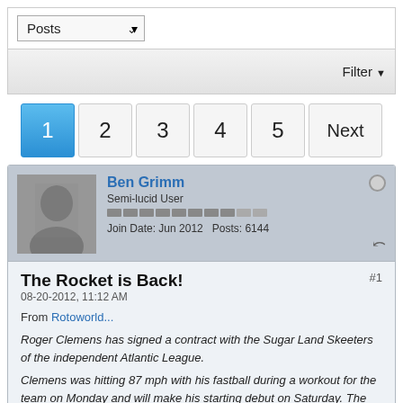[Figure (screenshot): Dropdown selector showing 'Posts' with a chevron arrow, part of a forum UI]
[Figure (screenshot): Filter bar with 'Filter' button and dropdown arrow on the right]
[Figure (screenshot): Pagination bar with pages 1 (active/blue), 2, 3, 4, 5, and Next button]
[Figure (screenshot): Forum post header showing user Ben Grimm avatar, username, Semi-lucid User, Join Date Jun 2012, Posts 6144, online indicator and share icon]
The Rocket is Back!
08-20-2012, 11:12 AM
From Rotoworld...
Roger Clemens has signed a contract with the Sugar Land Skeeters of the independent Atlantic League.
Clemens was hitting 87 mph with his fastball during a workout for the team on Monday and will make his starting debut on Saturday. The 50-